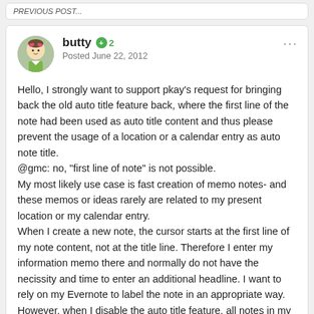PREVIOUS POST
butty  +2
Posted June 22, 2012
Hello, I strongly want to support pkay's request for bringing back the old auto title feature back, where the first line of the note had been used as auto title content and thus please prevent the usage of a location or a calendar entry as auto note title.
@gmc: no, "first line of note" is not possible.
My most likely use case is fast creation of memo notes- and these memos or ideas rarely are related to my present location or my calendar entry.
When I create a new note, the cursor starts at the first line of my note content, not at the title line. Therefore I enter my information memo there and normally do not have the necissity and time to enter an additional headline. I want to rely on my Evernote to label the note in an appropriate way. However, when I disable the auto title feature, all notes in my list view are named equally like "note without title". And in case I enable auto title content with a location or a calendar entry (it becomes a constant header